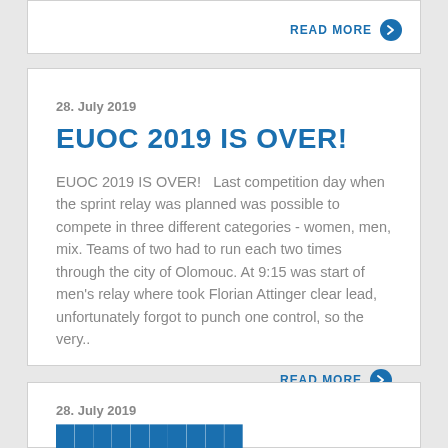READ MORE
28. July 2019
EUOC 2019 IS OVER!
EUOC 2019 IS OVER!   Last competition day when the sprint relay was planned was possible to compete in three different categories - women, men, mix. Teams of two had to run each two times through the city of Olomouc. At 9:15 was start of men's relay where took Florian Attinger clear lead, unfortunately forgot to punch one control, so the very..
READ MORE
28. July 2019